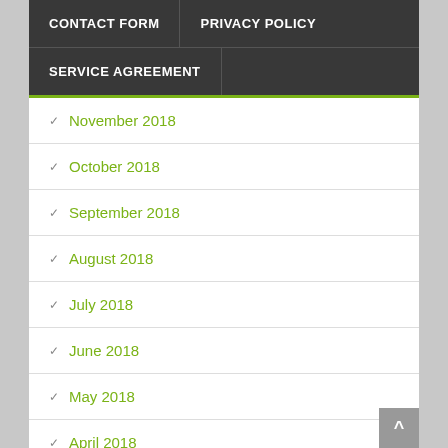CONTACT FORM | PRIVACY POLICY | SERVICE AGREEMENT
November 2018
October 2018
September 2018
August 2018
July 2018
June 2018
May 2018
April 2018
March 2018
February 2018
January 2018